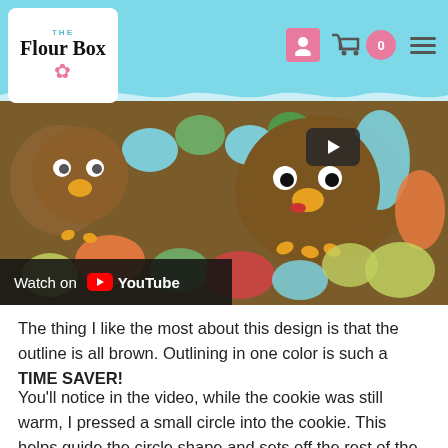The Flour Box - website header with logo and navigation icons
[Figure (screenshot): YouTube video thumbnail showing turkey-shaped decorated cookies with colorful candy feathers. A play button is visible in the upper right of the video. A 'Watch on YouTube' badge appears in the lower left corner.]
The thing I like the most about this design is that the outline is all brown. Outlining in one color is such a TIME SAVER!
You'll notice in the video, while the cookie was still warm, I pressed a small circle into the cookie. This helps guide the circle shape and sets off the rest of the design, making it easy to keep the turkey